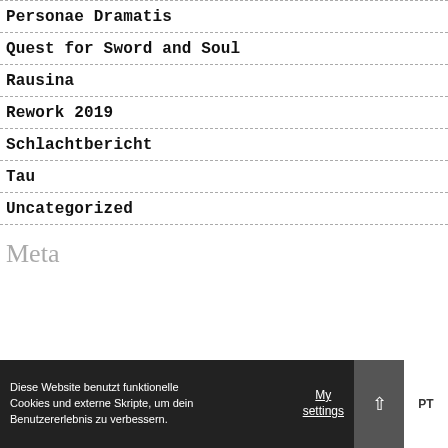Personae Dramatis
Quest for Sword and Soul
Rausina
Rework 2019
Schlachtbericht
Tau
Uncategorized
Meta
Diese Website benutzt funktionelle Cookies und externe Skripte, um dein Benutzererlebnis zu verbessern.